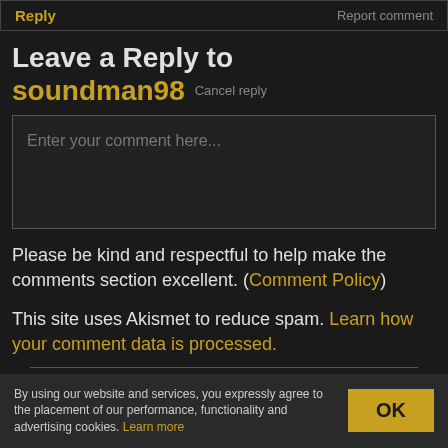Reply | Report comment
Leave a Reply to soundman98  Cancel reply
Enter your comment here...
Please be kind and respectful to help make the comments section excellent. (Comment Policy)
This site uses Akismet to reduce spam. Learn how your comment data is processed.
By using our website and services, you expressly agree to the placement of our performance, functionality and advertising cookies. Learn more